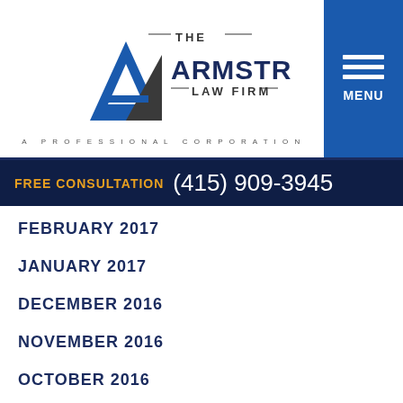[Figure (logo): The Armstrong Law Firm logo with blue triangle A graphic and text 'THE ARMSTRONG LAW FIRM — A PROFESSIONAL CORPORATION']
FREE CONSULTATION (415) 909-3945
FEBRUARY 2017
JANUARY 2017
DECEMBER 2016
NOVEMBER 2016
OCTOBER 2016
SEPTEMBER 2016
AUGUST 2016
JULY 2016